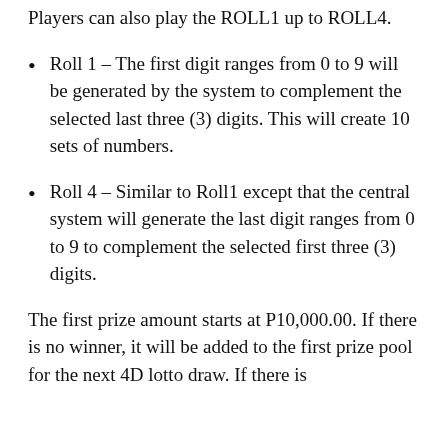Players can also play the ROLL1 up to ROLL4.
Roll 1 – The first digit ranges from 0 to 9 will be generated by the system to complement the selected last three (3) digits. This will create 10 sets of numbers.
Roll 4 – Similar to Roll1 except that the central system will generate the last digit ranges from 0 to 9 to complement the selected first three (3) digits.
The first prize amount starts at P10,000.00. If there is no winner, it will be added to the first prize pool for the next 4D lotto draw. If there is